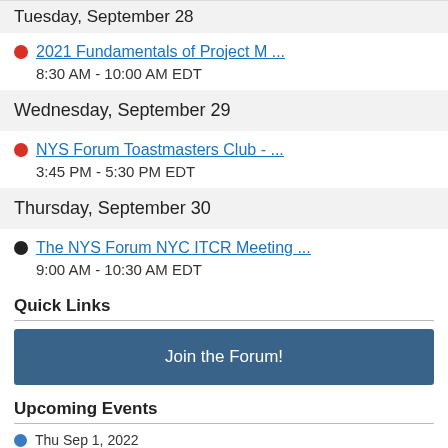Tuesday, September 28
2021 Fundamentals of Project M ...
8:30 AM - 10:00 AM EDT
Wednesday, September 29
NYS Forum Toastmasters Club - ...
3:45 PM - 5:30 PM EDT
Thursday, September 30
The NYS Forum NYC ITCR Meeting ...
9:00 AM - 10:30 AM EDT
Quick Links
Join the Forum!
Upcoming Events
Thu Sep 1, 2022